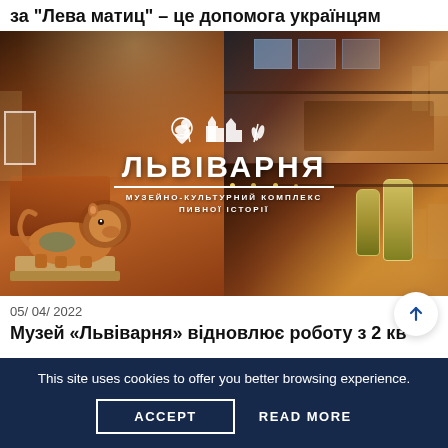за "Лева матич" – це допомога українцям
[Figure (photo): Collage of museum interior photos showing warm brick-toned gallery halls with art on walls, golden lighting, staircases, and a decorative lion statue in the foreground. Overlaid with the Lvivarna logo (ЛЬВІВАРНЯ) and subtitle МУЗЕЙНО-КУЛЬТУРНИЙ КОМПЛЕКС ПИВНОЇ ІСТОРІ.]
05/ 04/ 2022
Музей «Львіварня» відновлює роботу з 2 кв
This site uses cookies to offer you better browsing experience.
ACCEPT
READ MORE